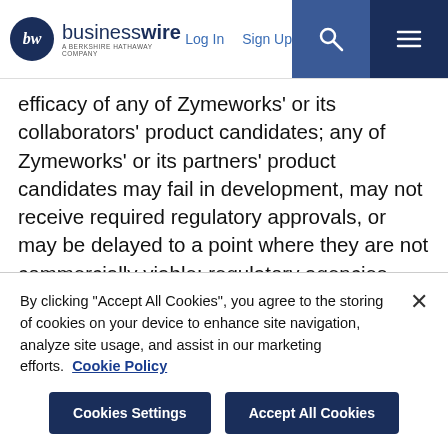businesswire — A Berkshire Hathaway Company | Log In | Sign Up
efficacy of any of Zymeworks' or its collaborators' product candidates; any of Zymeworks' or its partners' product candidates may fail in development, may not receive required regulatory approvals, or may be delayed to a point where they are not commercially viable; regulatory agencies may impose additional requirements or delay the initiation of clinical trials; the impact of new or changing laws and regulations; market conditions; Zymeworks' assumptions regarding its financial condition may be incorrect; Zymeworks may ultimately not pursue fundraising, may be unsuccessful if it does pursue fundraising or may be unable to fundraise on commercially reasonable terms; Zymeworks may fail
By clicking "Accept All Cookies", you agree to the storing of cookies on your device to enhance site navigation, analyze site usage, and assist in our marketing efforts.  Cookie Policy
Cookies Settings | Accept All Cookies